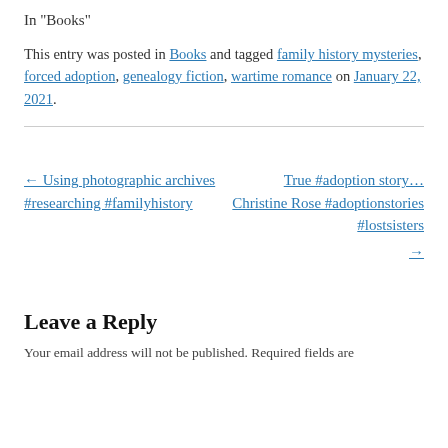In "Books"
This entry was posted in Books and tagged family history mysteries, forced adoption, genealogy fiction, wartime romance on January 22, 2021.
← Using photographic archives #researching #familyhistory
True #adoption story… Christine Rose #adoptionstories #lostsisters →
Leave a Reply
Your email address will not be published. Required fields are